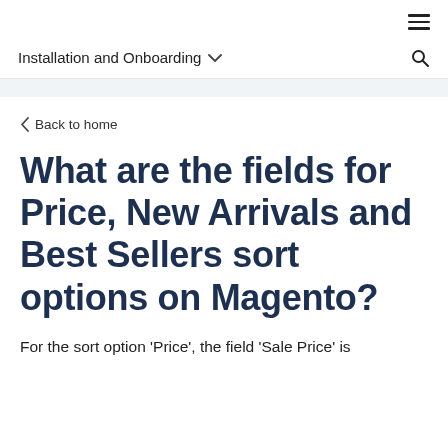≡
Installation and Onboarding ∨  🔍
‹ Back to home
What are the fields for Price, New Arrivals and Best Sellers sort options on Magento?
For the sort option 'Price', the field 'Sale Price' is